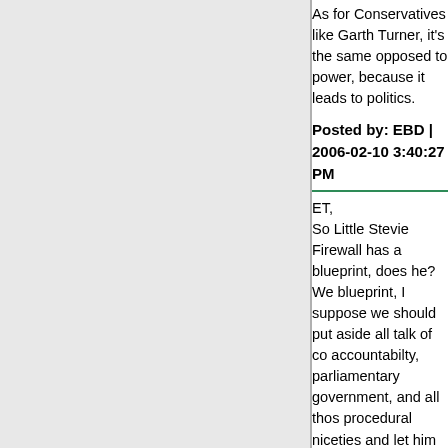As for Conservatives like Garth Turner, it's the same opposed to power, because it leads to politics.
Posted by: EBD | 2006-02-10 3:40:27 PM
ET,
So Little Stevie Firewall has a blueprint, does he? We blueprint, I suppose we should put aside all talk of co accountabilty, parliamentary government, and all thos procedural niceties and let him implement it.

Because, hey, he got 36% of the vote. Elected a who than the next nearest party. Clearly, this is an overwh massive and irreversible change and no one -- not th a comparatively easy ride during the election, not his sold him as a man of integrity and incrementalism to and certainly not the electorate or the opposition part like it!) -- should dare stand in his way or utter a peep What Has To Be Done. Because he has a vision. Mir And Stalin. And Mao. And Mussolini. Vision is over-ra country, you have to sell your vision to, if not a major substantial plurality of the country. And Little Stevie d the last election.

As much as I'm amused at conservatives turning the Emerson and Fortier -- watching you guys try to get t running is more fun than watching the clowns-in- the- - I kind of feel bad for the true believers, who've had t yanked right out from under them. Sure, that's the na holier than thou meets political reality, but still, kudos